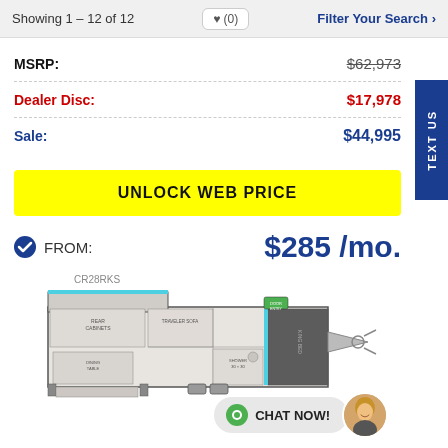Showing 1 – 12 of 12   ♥ (0)   Filter Your Search ›
MSRP: $62,973
Dealer Disc: $17,978
Sale: $44,995
UNLOCK WEB PRICE
FROM: $285 /mo.
CR28RKS
[Figure (illustration): RV floor plan diagram for model CR28RKS showing interior layout with slide-out, dinette, kitchen, bathroom, and king bed areas]
CHAT NOW!